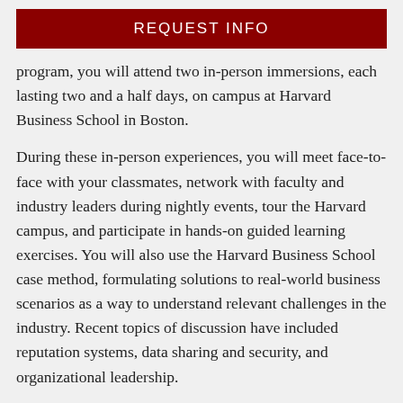REQUEST INFO
program, you will attend two in-person immersions, each lasting two and a half days, on campus at Harvard Business School in Boston.
During these in-person experiences, you will meet face-to-face with your classmates, network with faculty and industry leaders during nightly events, tour the Harvard campus, and participate in hands-on guided learning exercises. You will also use the Harvard Business School case method, formulating solutions to real-world business scenarios as a way to understand relevant challenges in the industry. Recent topics of discussion have included reputation systems, data sharing and security, and organizational leadership.
You will be responsible for travel and room and board costs for both immersions. Specific details regarding hotel